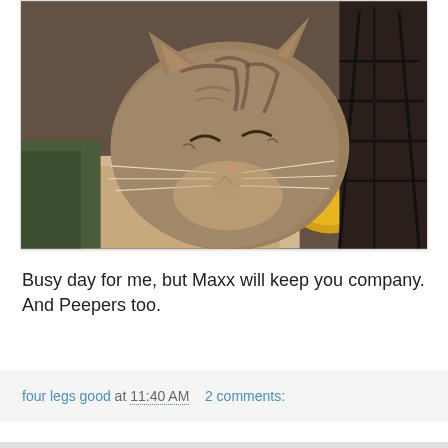[Figure (photo): A tabby cat with eyes partially closed resting its head near a black wire/metal mesh structure (possibly a decorative Eiffel Tower or basket), with a yellow object visible in the background. The cat appears sleepy or content.]
Busy day for me, but Maxx will keep you company. And Peepers too.
four legs good at 11:40 AM   2 comments: